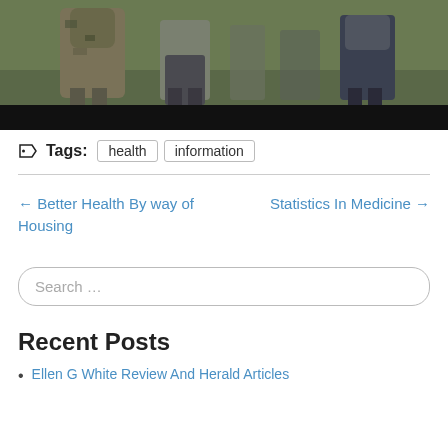[Figure (photo): A photograph of people walking outdoors on grass, one person wearing camouflage clothing, with a black bar at the bottom of the image area.]
Tags: health information
← Better Health By way of Housing
Statistics In Medicine →
Search ...
Recent Posts
Ellen G White Review And Herald Articles